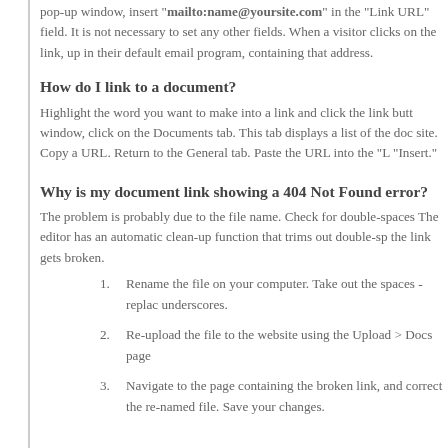pop-up window, insert "mailto:name@yoursite.com" in the "Link URL" field. It is not necessary to set any other fields. When a visitor clicks on the link, a new email will open up in their default email program, containing that address.
How do I link to a document?
Highlight the word you want to make into a link and click the link button. In the pop-up window, click on the Documents tab. This tab displays a list of the documents on your site. Copy a URL. Return to the General tab. Paste the URL into the "Link URL" box. Click "Insert."
Why is my document link showing a 404 Not Found error?
The problem is probably due to the file name. Check for double-spaces in the file name. The editor has an automatic clean-up function that trims out double-spaces in body text. If the file name has a double-space, the link gets broken.
1. Rename the file on your computer. Take out the spaces - replace them with underscores.
2. Re-upload the file to the website using the Upload > Docs page.
3. Navigate to the page containing the broken link, and correct the link to point to the re-named file. Save your changes.